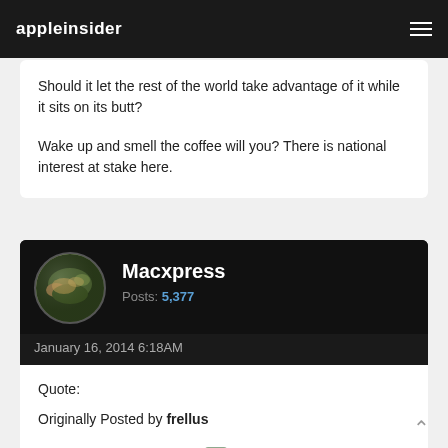appleinsider
Should it let the rest of the world take advantage of it while it sits on its butt?
Wake up and smell the coffee will you?  There is national interest at stake here.
Macxpress
Posts: 5,377
January 16, 2014 6:18AM
Quote:
Originally Posted by frellus